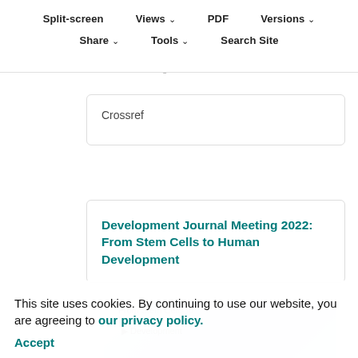Split-screen  Views  PDF  Versions
Share  Tools  Search Site
Cited by
Google Scholar
Crossref
Development Journal Meeting 2022: From Stem Cells to Human Development
This site uses cookies. By continuing to use our website, you are agreeing to our privacy policy. Accept